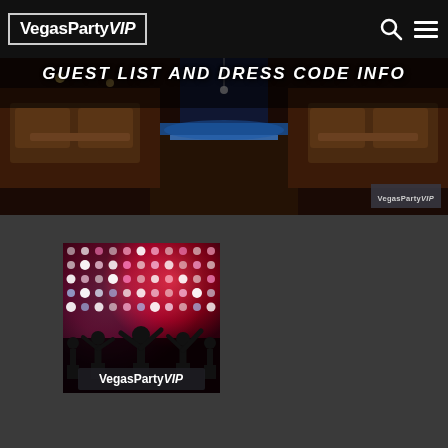[Figure (logo): VegasPartyVIP logo in white text on black background with border]
[Figure (photo): Hero banner showing nightclub interior with booth seating and blue lighting, overlaid with bold italic text 'GUEST LIST AND DRESS CODE INFO' and VegasPartyVIP watermark]
[Figure (photo): Square promotional image with colorful disco lights (pink, blue, red) and silhouetted crowd with raised hands, VegasPartyVIP logo at bottom]